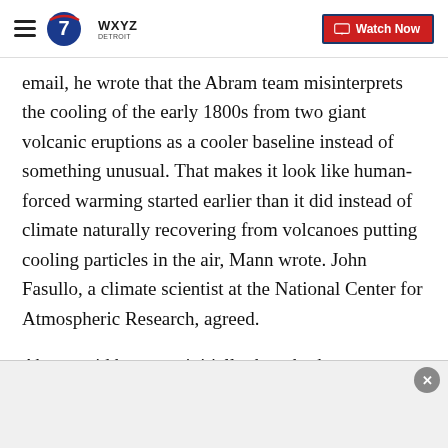WXYZ Detroit — Watch Now
email, he wrote that the Abram team misinterprets the cooling of the early 1800s from two giant volcanic eruptions as a cooler baseline instead of something unusual. That makes it look like human-forced warming started earlier than it did instead of climate naturally recovering from volcanoes putting cooling particles in the air, Mann wrote. John Fasullo, a climate scientist at the National Center for Atmospheric Research, agreed.
Abram said her team initially thought they saw a bounce back from the volcanic eruptions, but their